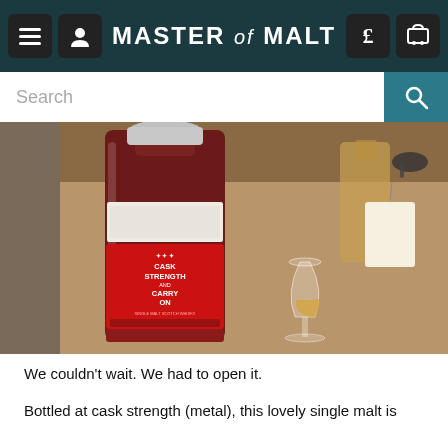MASTER of MALT
[Figure (photo): A bottle of whisky with a red label reading 'CASK STRENGTH AND CARRY ON' sits on a table next to a Glencairn whisky glass containing a small amount of amber whisky. In the background there are other bottles and items on the table.]
We couldn't wait. We had to open it.
Bottled at cask strength (metal), this lovely single malt is